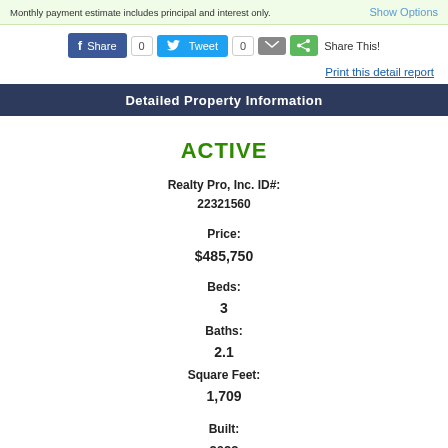Monthly payment estimate includes principal and interest only.
Show Options
Share
0
Tweet
0
Share This!
Print this detail report
Detailed Property Information
ACTIVE
Realty Pro, Inc. ID#:
22321560
Price:
$485,750
Beds:
3
Baths:
2.1
Square Feet:
1,709
Built:
2022
Style: